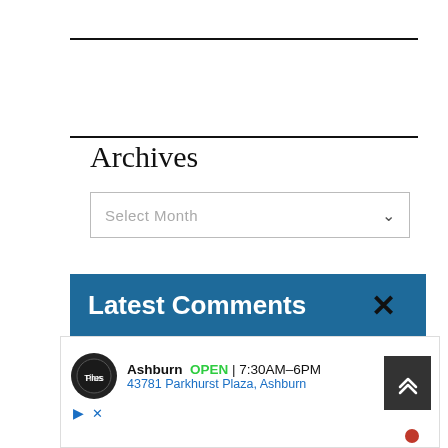Archives
Select Month
Latest Comments
[Figure (screenshot): Advertisement: Ashburn OPEN 7:30AM-6PM, 43781 Parkhurst Plaza, Ashburn]